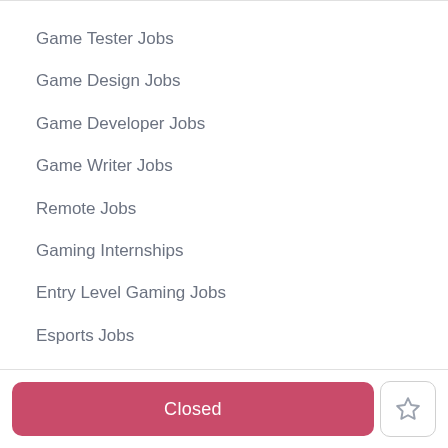Game Tester Jobs
Game Design Jobs
Game Developer Jobs
Game Writer Jobs
Remote Jobs
Gaming Internships
Entry Level Gaming Jobs
Esports Jobs
Epic Games Jobs
Riot Games Jobs
Closed